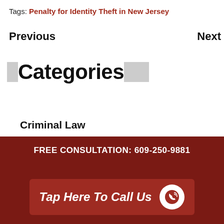Tags: Penalty for Identity Theft in New Jersey
Previous
Next
Categories
Criminal Law
DUI Defense
FREE CONSULTATION: 609-250-9881
Tap Here To Call Us